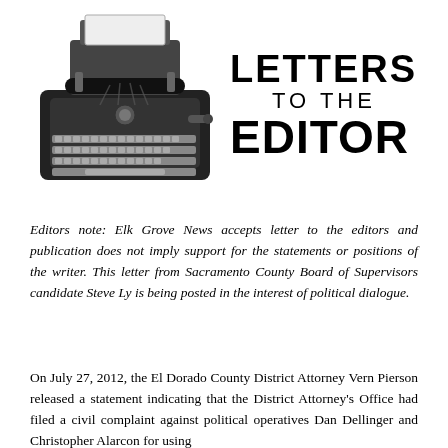[Figure (illustration): Black and white illustration of a vintage typewriter alongside bold text reading 'LETTERS TO THE EDITOR']
Editors note: Elk Grove News accepts letter to the editors and publication does not imply support for the statements or positions of the writer. This letter from Sacramento County Board of Supervisors candidate Steve Ly is being posted in the interest of political dialogue.
On July 27, 2012, the El Dorado County District Attorney Vern Pierson released a statement indicating that the District Attorney's Office had filed a civil complaint against political operatives Dan Dellinger and Christopher Alarcon for using